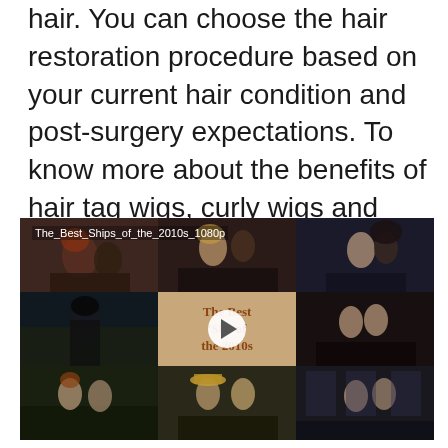hair. You can choose the hair restoration procedure based on your current hair condition and post-surgery expectations. To know more about the benefits of hair tag wigs, curly wigs and hair bundles, and the procedure, look at the following guide.
[Figure (screenshot): Video thumbnail grid showing 'The_Best_Ships_of_the_2010s_1080p' with 9 panels of movie/TV couple scenes and a central play button overlay reading 'The Best Ships of the 2010s']